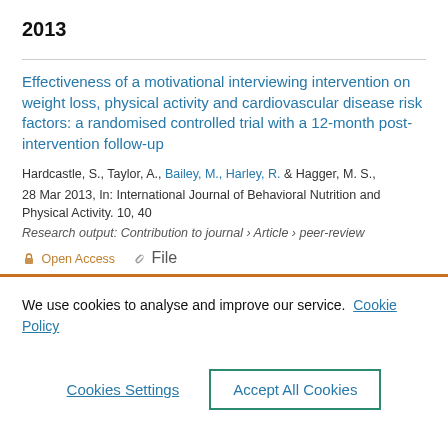2013
Effectiveness of a motivational interviewing intervention on weight loss, physical activity and cardiovascular disease risk factors: a randomised controlled trial with a 12-month post-intervention follow-up
Hardcastle, S., Taylor, A., Bailey, M., Harley, R. & Hagger, M. S., 28 Mar 2013, In: International Journal of Behavioral Nutrition and Physical Activity. 10, 40
Research output: Contribution to journal › Article › peer-review
Open Access   File
We use cookies to analyse and improve our service.  Cookie Policy
Cookies Settings
Accept All Cookies